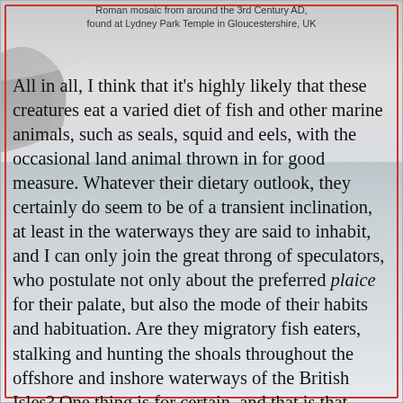Roman mosaic from around the 3rd Century AD, found at Lydney Park Temple in Gloucestershire, UK
All in all, I think that it's highly likely that these creatures eat a varied diet of fish and other marine animals, such as seals, squid and eels, with the occasional land animal thrown in for good measure. Whatever their dietary outlook, they certainly do seem to be of a transient inclination, at least in the waterways they are said to inhabit, and I can only join the great throng of speculators, who postulate not only about the preferred plaice for their palate, but also the mode of their habits and habituation. Are they migratory fish eaters, stalking and hunting the shoals throughout the offshore and inshore waterways of the British Isles? One thing is for certain, and that is that Nessie and her many friends are seen both in fresh and saltwater, more frequently than some would like to admit, in and around the British Isles. It would be reticent of us to not consider that some of the animals we see in the rivers and off the coasts are of the same